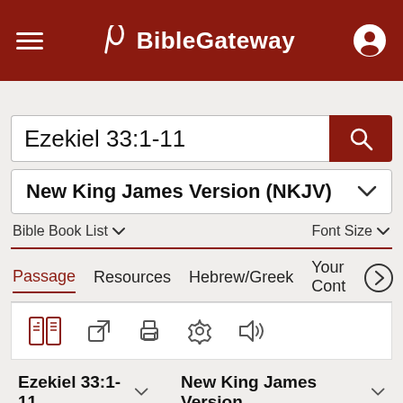BibleGateway
Ezekiel 33:1-11
New King James Version (NKJV)
Bible Book List  Font Size
Passage  Resources  Hebrew/Greek  Your Cont
[Figure (screenshot): Toolbar with icons: parallel Bible, external link, print, settings, audio]
Ezekiel 33:1-11  New King James Version